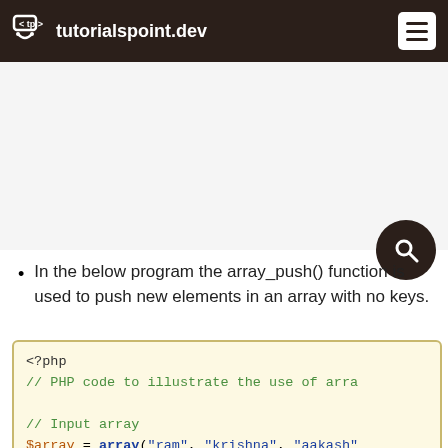tutorialspoint.dev
[Figure (other): Advertisement banner area (blank/placeholder)]
In the below program the array_push() function is used to push new elements in an array with no keys.
<?php
// PHP code to illustrate the use of array_push()

// Input array
$array = array("ram", "krishna", "aakash"

// elements to push
$a1 = "rohan";
$a2 = "rajeeb";